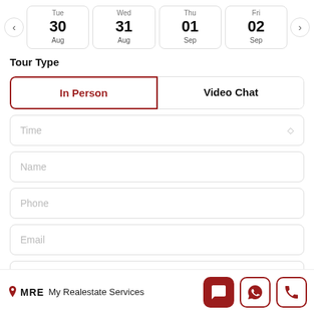[Figure (screenshot): Calendar date picker strip showing Tue 30 Aug, Wed 31 Aug, Thu 01 Sep, Fri 02 Sep with left/right navigation arrows]
Tour Type
[Figure (screenshot): Tour type selection buttons: 'In Person' (selected, red border) and 'Video Chat']
Time (dropdown placeholder)
Name (input placeholder)
Phone (input placeholder)
Email (input placeholder)
My Realestate Services — MRE logo with chat, WhatsApp, and phone icons